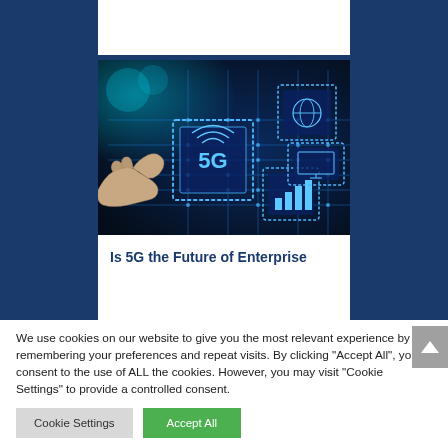[Figure (photo): 5G technology concept image showing a hand pointing at a glowing circuit board with 5G icon, globe, chart bars, and other digital icons on a dark blue background]
Is 5G the Future of Enterprise
We use cookies on our website to give you the most relevant experience by remembering your preferences and repeat visits. By clicking "Accept All", you consent to the use of ALL the cookies. However, you may visit "Cookie Settings" to provide a controlled consent.